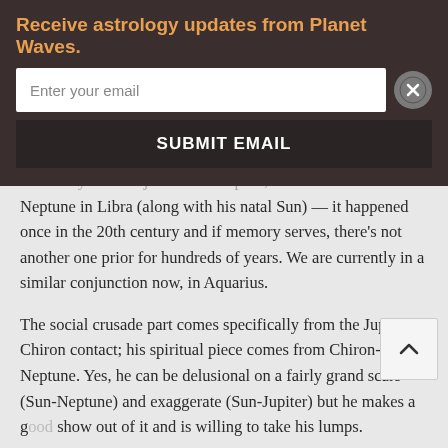Receive astrology updates from Planet Waves.
Enter your email
SUBMIT EMAIL
extremely rare conjunction of Jupiter, Chiron and Neptune in Libra (along with his natal Sun) — it happened once in the 20th century and if memory serves, there's not another one prior for hundreds of years. We are currently in a similar conjunction now, in Aquarius.
The social crusade part comes specifically from the Jupiter-Chiron contact; his spiritual piece comes from Chiron-Neptune. Yes, he can be delusional on a fairly grand scale (Sun-Neptune) and exaggerate (Sun-Jupiter) but he makes a good show out of it and is willing to take his lumps.